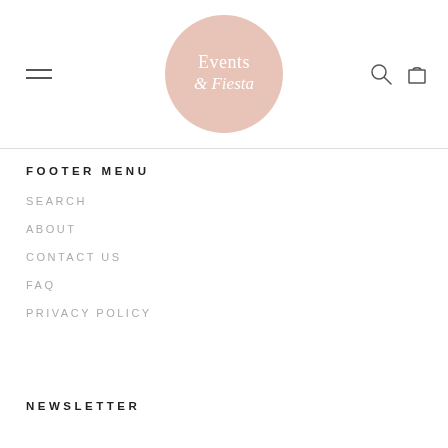Events & Fiesta logo with hamburger menu, search and cart icons
FOOTER MENU
SEARCH
ABOUT
CONTACT US
FAQ
PRIVACY POLICY
NEWSLETTER